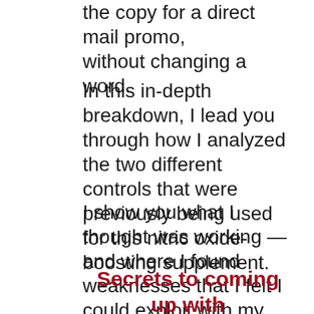the copy for a direct mail promo, without changing a word.
In this in-depth breakdown, I lead you through how I analyzed the two different controls that were previously being used for this nitric oxide-boosting supplement.
I show you what I thought was working—and where I found weaknesses that I felt I could exploit with my new promo. But that's not all...
Secrets to coming up with the “big idea”...plus two killer headlines that remain